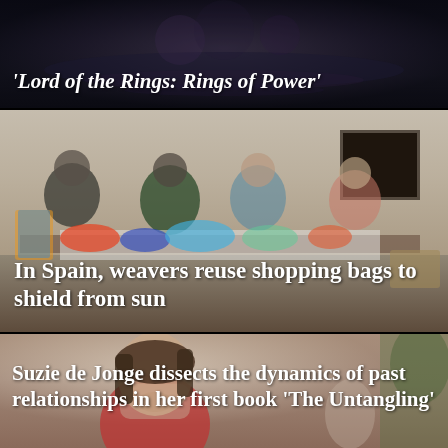[Figure (photo): Dark cinematic still from 'Lord of the Rings: Rings of Power' showing a dimly lit scene]
'Lord of the Rings: Rings of Power'
[Figure (photo): Four elderly women sitting outdoors against a stone wall in Spain, knitting and crocheting with colorful yarns and fabric]
In Spain, weavers reuse shopping bags to shield from sun
[Figure (photo): Portrait of Suzie de Jonge, a woman with brown hair wearing a red top, seated indoors with plants and home decor visible]
Suzie de Jonge dissects the dynamics of past relationships in her first book 'The Untangling'